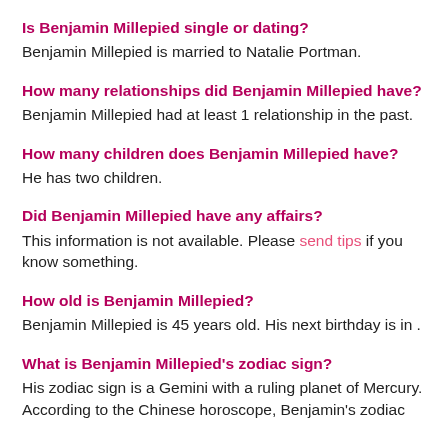Is Benjamin Millepied single or dating?
Benjamin Millepied is married to Natalie Portman.
How many relationships did Benjamin Millepied have?
Benjamin Millepied had at least 1 relationship in the past.
How many children does Benjamin Millepied have?
He has two children.
Did Benjamin Millepied have any affairs?
This information is not available. Please send tips if you know something.
How old is Benjamin Millepied?
Benjamin Millepied is 45 years old. His next birthday is in .
What is Benjamin Millepied's zodiac sign?
His zodiac sign is a Gemini with a ruling planet of Mercury. According to the Chinese horoscope, Benjamin's zodiac